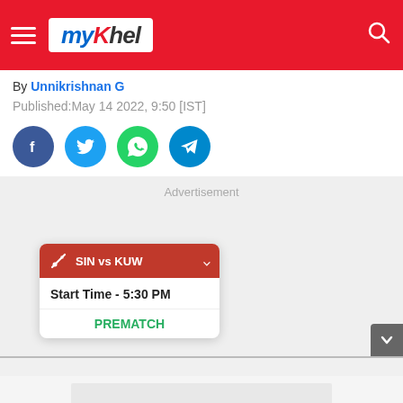myKhel
By Unnikrishnan G
Published:May 14 2022, 9:50 [IST]
[Figure (other): Social share icons: Facebook, Twitter, WhatsApp, Telegram]
[Figure (other): Advertisement placeholder area]
[Figure (other): Match widget showing SIN vs KUW, Start Time 5:30 PM, PREMATCH status]